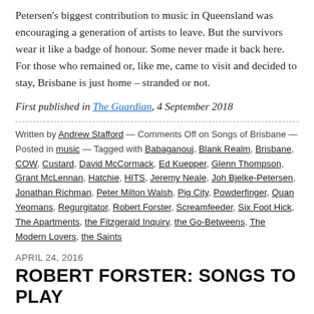Petersen's biggest contribution to music in Queensland was encouraging a generation of artists to leave. But the survivors wear it like a badge of honour. Some never made it back here. For those who remained or, like me, came to visit and decided to stay, Brisbane is just home – stranded or not.
First published in The Guardian, 4 September 2018
Written by Andrew Stafford — Comments Off on Songs of Brisbane — Posted in music — Tagged with Babaganouj, Blank Realm, Brisbane, COW, Custard, David McCormack, Ed Kuepper, Glenn Thompson, Grant McLennan, Hatchie, HITS, Jeremy Neale, Joh Bjelke-Petersen, Jonathan Richman, Peter Milton Walsh, Pig City, Powderfinger, Quan Yeomans, Regurgitator, Robert Forster, Screamfeeder, Six Foot Hick, The Apartments, the Fitzgerald Inquiry, the Go-Betweens, The Modern Lovers, the Saints
APRIL 24, 2016
ROBERT FORSTER: SONGS TO PLAY
A new album by Robert Forster is almost always a challenge before it